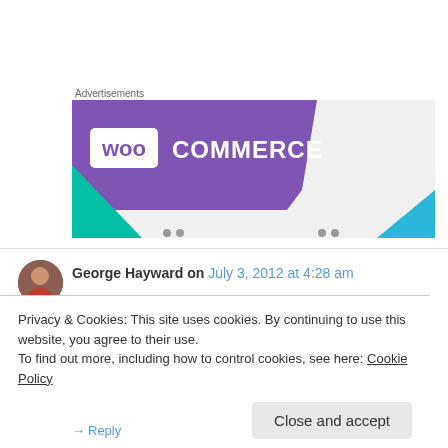Advertisements
[Figure (logo): WooCommerce advertisement banner with purple background, WOO logo box in white, COMMERCE text in white, teal/green triangle bottom-left, cyan triangle bottom-right]
George Hayward on July 3, 2012 at 4:28 am
Privacy & Cookies: This site uses cookies. By continuing to use this website, you agree to their use.
To find out more, including how to control cookies, see here: Cookie Policy
Close and accept
↳ Reply